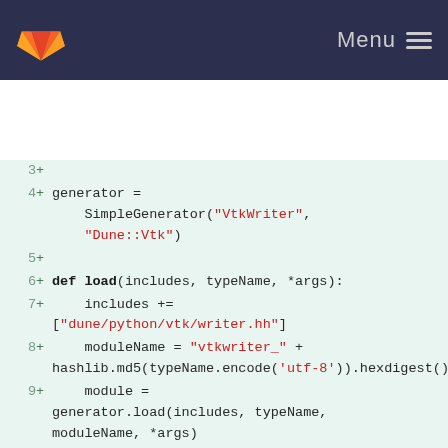GitLab navigation with logo and Menu
[Figure (screenshot): Code diff screenshot showing Python code for VtkWriter generator functions, lines 3–14, with added lines marked by + sign in green diff style on light green background.]